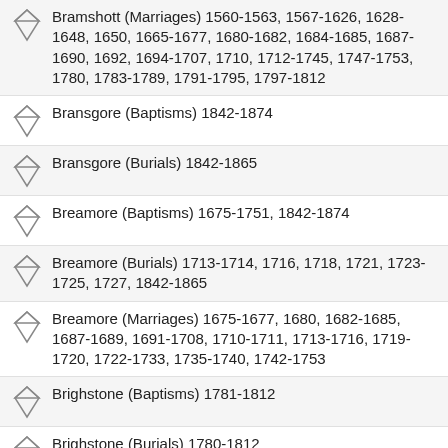Bramshott (Marriages) 1560-1563, 1567-1626, 1628-1648, 1650, 1665-1677, 1680-1682, 1684-1685, 1687-1690, 1692, 1694-1707, 1710, 1712-1745, 1747-1753, 1780, 1783-1789, 1791-1795, 1797-1812
Bransgore (Baptisms) 1842-1874
Bransgore (Burials) 1842-1865
Breamore (Baptisms) 1675-1751, 1842-1874
Breamore (Burials) 1713-1714, 1716, 1718, 1721, 1723-1725, 1727, 1842-1865
Breamore (Marriages) 1675-1677, 1680, 1682-1685, 1687-1689, 1691-1708, 1710-1711, 1713-1716, 1719-1720, 1722-1733, 1735-1740, 1742-1753
Brighstone (Baptisms) 1781-1812
Brighstone (Burials) 1780-1812
Brighstone (Marriages) 1746-1759, 1761-1768, 1770-1792, 1795-1812
Brockenhurst (Baptisms) 1593-1598, 1616-1626,